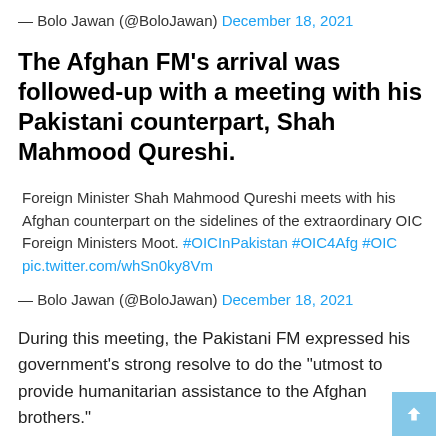— Bolo Jawan (@BoloJawan) December 18, 2021
The Afghan FM's arrival was followed-up with a meeting with his Pakistani counterpart, Shah Mahmood Qureshi.
Foreign Minister Shah Mahmood Qureshi meets with his Afghan counterpart on the sidelines of the extraordinary OIC Foreign Ministers Moot. #OICInPakistan #OIC4Afg #OIC pic.twitter.com/whSn0ky8Vm
— Bolo Jawan (@BoloJawan) December 18, 2021
During this meeting, the Pakistani FM expressed his government's strong resolve to do the "utmost to provide humanitarian assistance to the Afghan brothers."